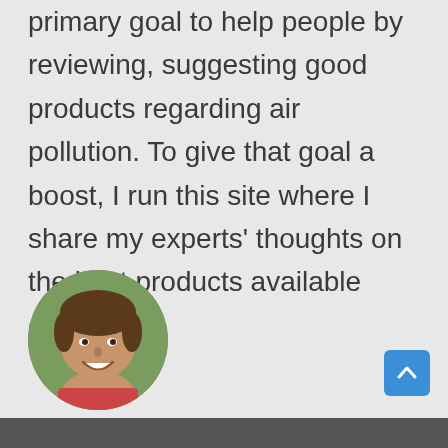primary goal to help people by reviewing, suggesting good products regarding air pollution. To give that goal a boost, I run this site where I share my experts' thoughts on the best products available currently.
[Figure (photo): Circular portrait photo of a young smiling man with brown hair, shown from shoulders up, outdoors background]
[Figure (screenshot): Blue scroll-to-top button with upward chevron arrow in bottom right corner]
[Figure (photo): Partial photo visible at the very bottom of the page, dark tones]